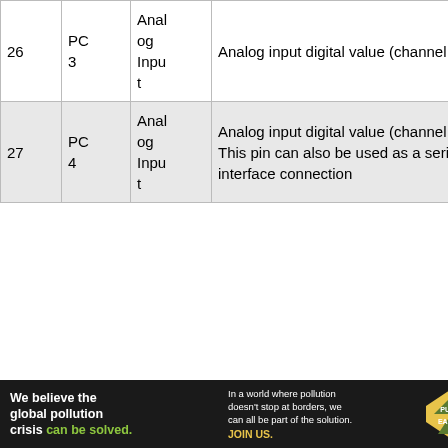| Pin | Name | Type | Description |
| --- | --- | --- | --- |
| 26 | PC 3 | Analog Input | Analog input digital value (channel 3) |
| 27 | PC 4 | Analog Input | Analog input digital value (channel 4). This pin can also be used as a serial interface connection |
[Figure (other): Pure Earth advertisement banner: 'We believe the global pollution crisis can be solved. In a world where pollution doesn't stop at borders, we can all be part of the solution. JOIN US.' with Pure Earth logo.]